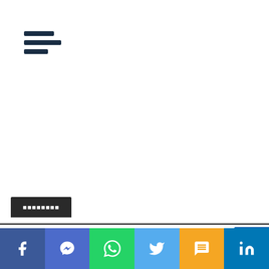[Figure (other): Hamburger menu icon with three horizontal lines of varying lengths]
[Figure (other): Enhanced by Google search bar with blue search button and magnifying glass icon]
OOOO OOOO (category tab label in non-Latin script)
I OOOOO OOOOO - OOO OO (article title link row)
Lift !
[Figure (other): Social sharing bar with Facebook, Messenger, WhatsApp, Twitter, SMS, and LinkedIn icons]